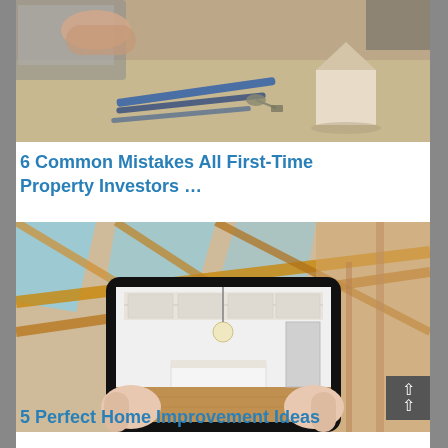[Figure (photo): Top-down photo of a desk with pencils, keys, a small wooden house model, and hands over a laptop — a real estate / property investment scene]
6 Common Mistakes All First-Time Property Investors …
[Figure (photo): Person holding a tablet showing a kitchen interior, standing inside a house under construction with wooden roof trusses visible]
5 Perfect Home Improvement Ideas